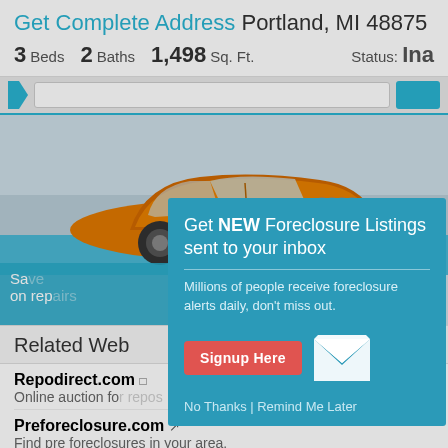Get Complete Address Portland, MI 48875
3 Beds  2 Baths  1,498 Sq. Ft.  Status: Ina
[Figure (screenshot): Navigation bar with search field and blue button]
[Figure (photo): Orange Audi sports car advertisement]
Sa... on rep...
Related Web
Repodirect.com — Online auction fo...
Preforeclosure.com — Find pre foreclosures in your area.
[Figure (infographic): Modal popup: Get NEW Foreclosure Listings sent to your inbox. Millions of people receive foreclosure alerts daily, don't miss out. Signup Here button. No Thanks | Remind Me Later links. White envelope icon.]